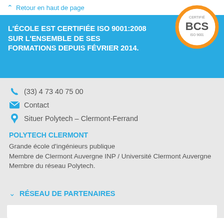Retour en haut de page
L'ÉCOLE EST CERTIFIÉE ISO 9001:2008 SUR L'ENSEMBLE DE SES FORMATIONS DEPUIS FÉVRIER 2014.
[Figure (logo): BCS certification logo — circular badge with orange ring, white center, 'BCS' text, and 'CERTIFIÉ' and 'ISO 9001' labels]
(33) 4 73 40 75 00
Contact
Situer Polytech - Clermont-Ferrand
POLYTECH CLERMONT
Grande école d'ingénieurs publique
Membre de Clermont Auvergne INP / Université Clermont Auvergne
Membre du réseau Polytech.
RÉSEAU DE PARTENAIRES